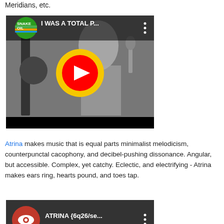Meridians, etc.
[Figure (screenshot): YouTube video thumbnail: Snake Oil channel, title 'I WAS A TOTAL P...' with YouTube play button overlay on black-and-white video of a musician]
Atrina makes music that is equal parts minimalist melodicism, counterpunctal cacophony, and decibel-pushing dissonance. Angular, but accessible. Complex, yet catchy. Eclectic, and electrifying - Atrina makes ears ring, hearts pound, and toes tap.
[Figure (screenshot): YouTube video thumbnail: ATRINA channel, title 'ATRINA {6q26/se...' with three-dot menu icon]